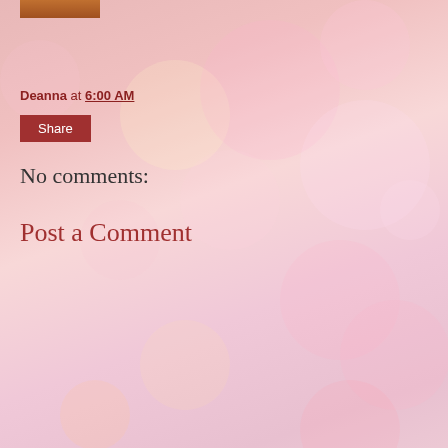[Figure (photo): Partially visible profile image thumbnail at top left, cropped]
Deanna at 6:00 AM
Share
No comments:
Post a Comment
< Home >
View web version
ABOUT ME
[Figure (photo): Profile photo of Deanna, a woman with dark hair]
Deanna
I love all things beauty and makeup, reading and books, and also have a keen interest in cooking and food. Combined with a husband who loves wine, we write a number of blogs that align with our interests. I have two